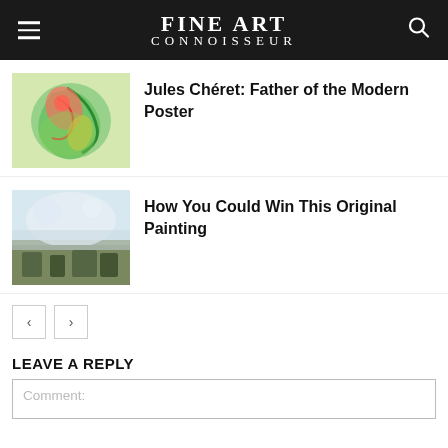FINE ART CONNOISSEUR
Jules Chéret: Father of the Modern Poster
[Figure (illustration): Colorful illustration with green and orange swirling figure, art nouveau style]
How You Could Win This Original Painting
[Figure (photo): Landscape painting with cloudy sky and trees]
< >
LEAVE A REPLY
Comment:
[Figure (photo): Red/orange moon against dark sky]
Cowboy Artists of America
4 hours ago